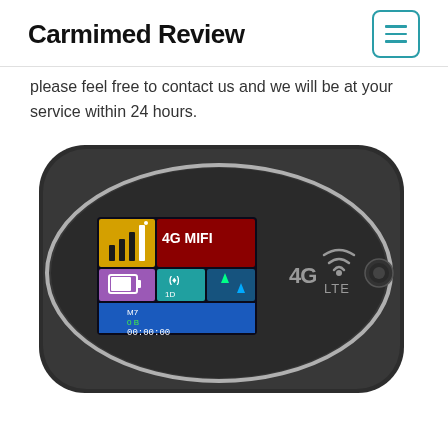Carmimed Review
please feel free to contact us and we will be at your service within 24 hours.
[Figure (photo): A black 4G LTE mobile WiFi hotspot device (MiFi router) showing a color LCD screen displaying '4G MIFI', signal bars, battery, data transfer arrows, and time '00:00:00'. The device has a '4G LTE' logo and a round power button on the right side.]